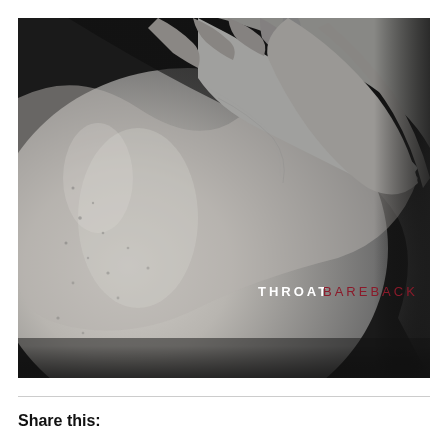[Figure (photo): Black and white album cover photograph showing a bare back/shoulder with hands gripping the neck/shoulder area. Text overlay reads 'THROAT' in white letters and 'BAREBACK' in dark red/maroon letters in the lower right portion of the image.]
Share this: